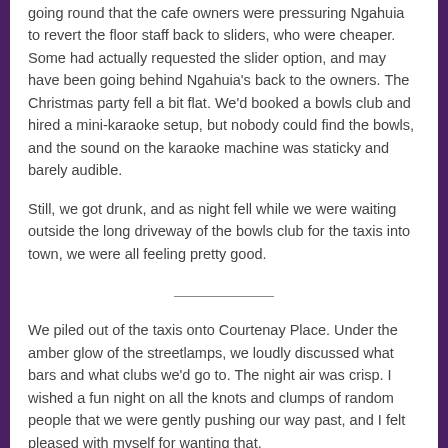going round that the cafe owners were pressuring Ngahuia to revert the floor staff back to sliders, who were cheaper. Some had actually requested the slider option, and may have been going behind Ngahuia's back to the owners. The Christmas party fell a bit flat. We'd booked a bowls club and hired a mini-karaoke setup, but nobody could find the bowls, and the sound on the karaoke machine was staticky and barely audible.
Still, we got drunk, and as night fell while we were waiting outside the long driveway of the bowls club for the taxis into town, we were all feeling pretty good.
We piled out of the taxis onto Courtenay Place. Under the amber glow of the streetlamps, we loudly discussed what bars and what clubs we'd go to. The night air was crisp. I wished a fun night on all the knots and clumps of random people that we were gently pushing our way past, and I felt pleased with myself for wanting that.
We were in line for a place when I saw someone that I recognised but couldn't immediately place.